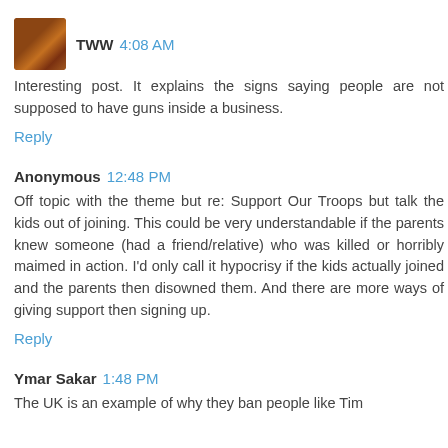TWW 4:08 AM
Interesting post. It explains the signs saying people are not supposed to have guns inside a business.
Reply
Anonymous 12:48 PM
Off topic with the theme but re: Support Our Troops but talk the kids out of joining. This could be very understandable if the parents knew someone (had a friend/relative) who was killed or horribly maimed in action. I'd only call it hypocrisy if the kids actually joined and the parents then disowned them. And there are more ways of giving support then signing up.
Reply
Ymar Sakar 1:48 PM
The UK is an example of why they ban people like Tim